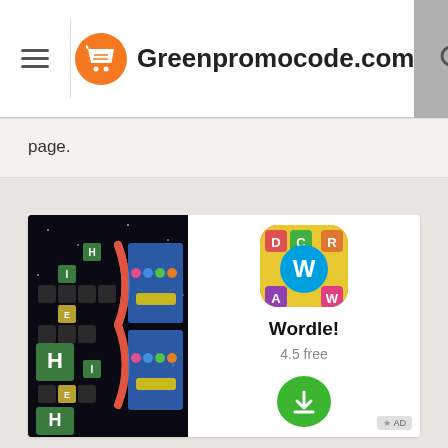Greenpromocode.com
page.
[Figure (screenshot): Advertisement showing a word game app (Wordle!) with game tiles on the left and app info on the right including icon, title 'Wordle!', rating '4.5 free', and a green download button. AD badge in bottom right corner.]